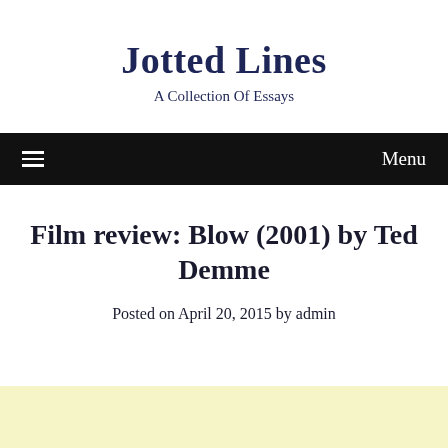Jotted Lines
A Collection Of Essays
Menu
Film review: Blow (2001) by Ted Demme
Posted on April 20, 2015 by admin